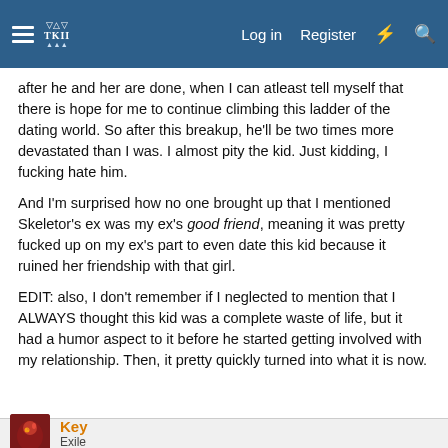Log in  Register
after he and her are done, when I can atleast tell myself that there is hope for me to continue climbing this ladder of the dating world. So after this breakup, he'll be two times more devastated than I was. I almost pity the kid. Just kidding, I fucking hate him.
And I'm surprised how no one brought up that I mentioned Skeletor's ex was my ex's good friend, meaning it was pretty fucked up on my ex's part to even date this kid because it ruined her friendship with that girl.
EDIT: also, I don't remember if I neglected to mention that I ALWAYS thought this kid was a complete waste of life, but it had a humor aspect to it before he started getting involved with my relationship. Then, it pretty quickly turned into what it is now.
Key
Exile